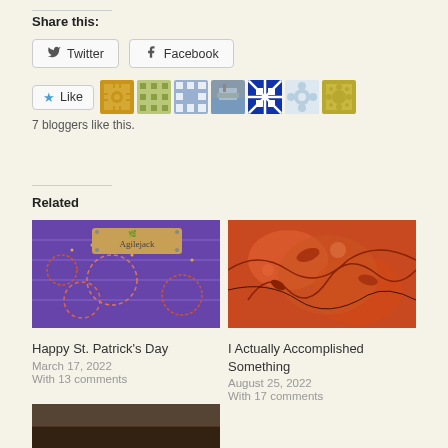Share this:
Twitter  Facebook
[Figure (infographic): Like button with star icon followed by 7 blogger avatar thumbnails (quilting pattern icons and a photo)]
7 bloggers like this.
Related
[Figure (photo): Quilting fabric image with Agilejack label - related post image for Happy St. Patrick's Day]
[Figure (photo): Red/orange floral fabric close-up - related post image for I Actually Accomplished Something]
Happy St. Patrick's Day
March 17, 2022
With 13 comments
I Actually Accomplished Something
August 25, 2022
With 17 comments